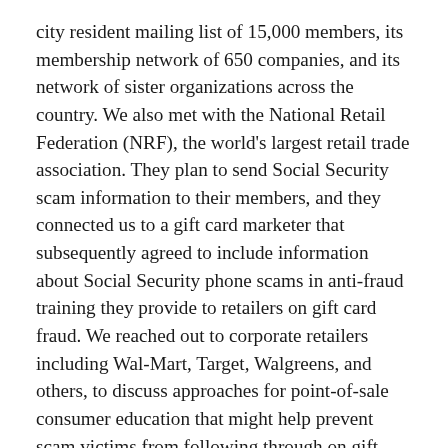city resident mailing list of 15,000 members, its membership network of 650 companies, and its network of sister organizations across the country. We also met with the National Retail Federation (NRF), the world's largest retail trade association. They plan to send Social Security scam information to their members, and they connected us to a gift card marketer that subsequently agreed to include information about Social Security phone scams in anti-fraud training they provide to retailers on gift card fraud. We reached out to corporate retailers including Wal-Mart, Target, Walgreens, and others, to discuss approaches for point-of-sale consumer education that might help prevent scam victims from following through on gift card purchases. As part of this retailer outreach effort, we worked with SSA to create a sign that retailers could place on gift card kiosks to warn the public about scams at the point of sale. Wal-Mart has added this sign to its rotation of anti-fraud messages